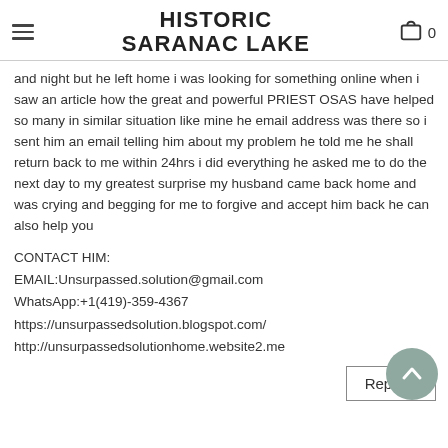HISTORIC SARANAC LAKE
and night but he left home i was looking for something online when i saw an article how the great and powerful PRIEST OSAS have helped so many in similar situation like mine he email address was there so i sent him an email telling him about my problem he told me he shall return back to me within 24hrs i did everything he asked me to do the next day to my greatest surprise my husband came back home and was crying and begging for me to forgive and accept him back he can also help you
CONTACT HIM:
EMAIL:Unsurpassed.solution@gmail.com
WhatsApp:+1(419)-359-4367
https://unsurpassedsolution.blogspot.com/
http://unsurpassedsolutionhome.website2.me